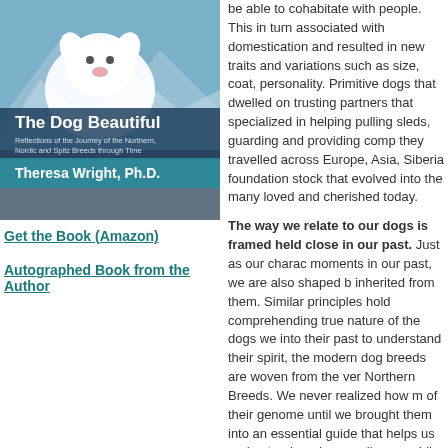[Figure (illustration): Book cover of 'The Dog Beautiful' by Theresa Wright, Ph.D. Shows a white dog against a blue/snowy background. Title in large white text, subtitle in smaller white text, author name on teal banner.]
Get the Book (Amazon)
Autographed Book from the Author
be able to cohabitate with people. This in turn associated with domestication and resulted in new traits and variations such as size, coat, personality. Primitive dogs that dwelled on trusting partners that specialized in helping pulling sleds, guarding and providing comp they travelled across Europe, Asia, Siberia foundation stock that evolved into the many loved and cherished today.
The way we relate to our dogs is framed held close in our past. Just as our charac moments in our past, we are also shaped b inherited from them. Similar principles hold comprehending true nature of the dogs we into their past to understand their spirit, the modern dog breeds are woven from the ver Northern Breeds. We never realized how m of their genome until we brought them into an essential guide that helps us understand made as well as providing the keys to unloc nature.Etiam nper.
Get the Book - "The Dog Beautiful" - Paper